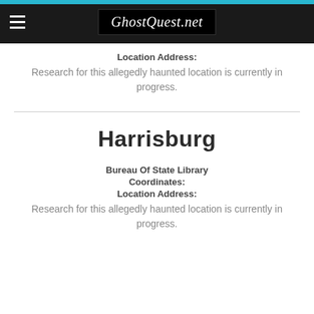GhostQuest.net
Location Address:
Research for this allegedly haunted location is currently in progress.
Harrisburg
Bureau Of State Library
Coordinates:
Location Address:
Research for this allegedly haunted location is currently in progress.